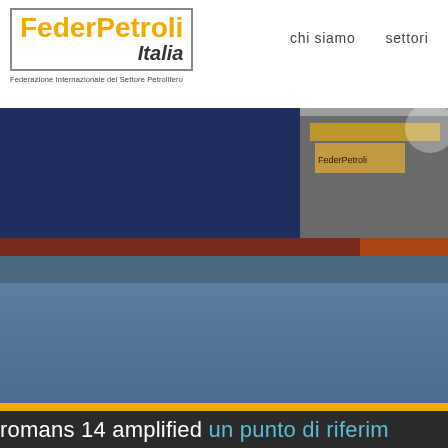[Figure (logo): FederPetroli Italia logo with orange and black text in a bordered box, with tagline 'Federazione Internazionale del Settore Petrolifero']
chi siamo
settori
[Figure (photo): Hero banner showing a gas station canopy at night with dark navy background and a horizontal red-brown stripe]
[Figure (photo): Blue-gray background section (main content area, largely empty)]
romans 14 amplified un punto di riferim